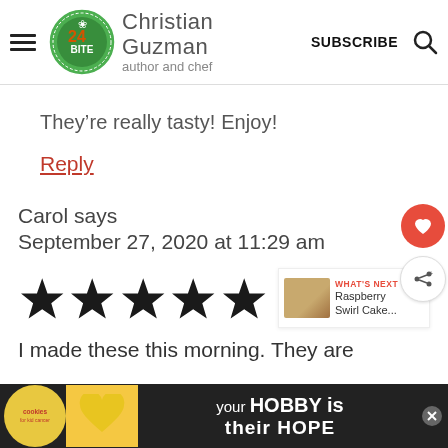Christian Guzman author and chef | SUBSCRIBE
They’re really tasty! Enjoy!
Reply
Carol says
September 27, 2020 at 11:29 am
[Figure (other): Five filled star rating icons (5 out of 5 stars)]
I made these this morning. They are fa...
[Figure (other): Advertisement banner: cookies for kid cancer logo, heart-shaped cookie image, 'your HOBBY is their HOPE' text on dark background]